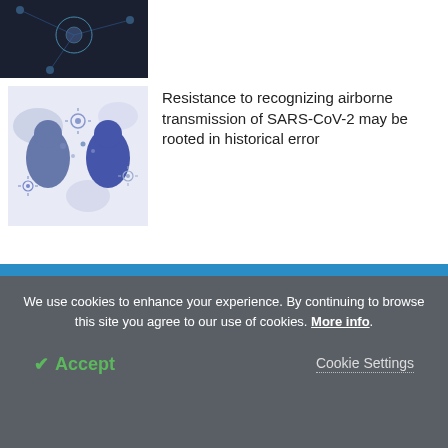[Figure (illustration): Dark blue/black image at top left, appears to be a network or scientific visualization]
[Figure (illustration): Cartoon illustration of silhouetted people facing each other with virus/droplet particles floating around them, blue-purple tones]
Resistance to recognizing airborne transmission of SARS-CoV-2 may be rooted in historical error
Latest News
[Figure (illustration): Colorful cartoon illustration of a diverse group of people standing together]
How does origin impact antiviral immune response?
We use cookies to enhance your experience. By continuing to browse this site you agree to our use of cookies. More info.